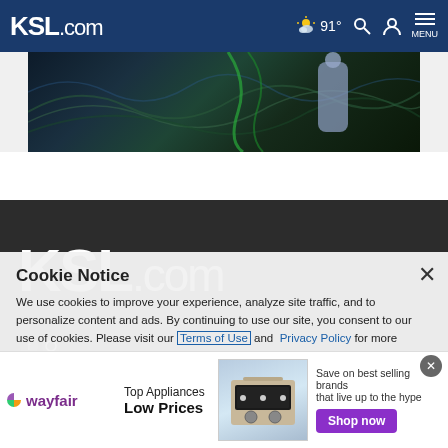KSL.com  91°
[Figure (photo): Hero image showing a person in a blue suit against a dark textured background with flowing abstract patterns]
[Figure (logo): KSL.com large logo on dark background, footer branding section]
Cookie Notice
We use cookies to improve your experience, analyze site traffic, and to personalize content and ads. By continuing to use our site, you consent to our use of cookies. Please visit our Terms of Use and Privacy Policy for more information
[Figure (screenshot): Wayfair advertisement banner: Top Appliances Low Prices, Save on best selling brands that live up to the hype, Shop now button]